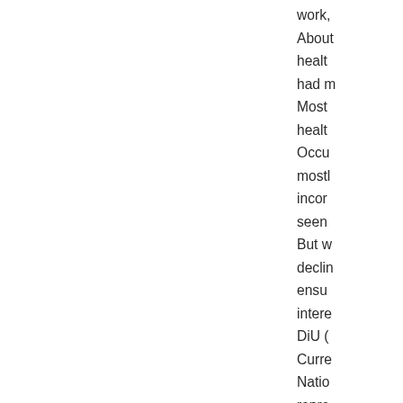work, About health, had m Most health Occu most incor seen But w declin ensu intere DiU ( Curre Natio repre